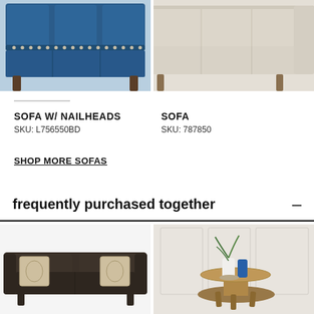[Figure (photo): Blue leather sofa with nailhead trim, partially cropped at top]
[Figure (photo): Beige/cream fabric sofa, partially cropped at top and right]
SOFA W/ NAILHEADS
SKU: L756550BD
SOFA
SKU: 787850
SHOP MORE SOFAS
frequently purchased together
[Figure (photo): Dark brown fabric loveseat with decorative throw pillows, partially cropped]
[Figure (photo): Round wood end table with blue vase and plant, in styled room setting]